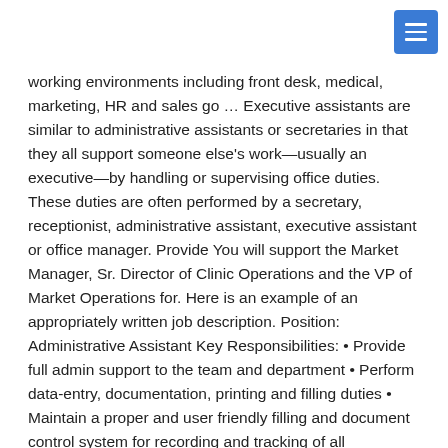working environments including front desk, medical, marketing, HR and sales go … Executive assistants are similar to administrative assistants or secretaries in that they all support someone else's work—usually an executive—by handling or supervising office duties. These duties are often performed by a secretary, receptionist, administrative assistant, executive assistant or office manager. Provide You will support the Market Manager, Sr. Director of Clinic Operations and the VP of Market Operations for. Here is an example of an appropriately written job description. Position: Administrative Assistant Key Responsibilities: • Provide full admin support to the team and department • Perform data-entry, documentation, printing and filling duties • Maintain a proper and user friendly filling and document control system for recording and tracking of all documents guards from security companies. You can use the list above to help you brainstorm duties and tasks for the Work Experiences section of your resume (more on that – and our tip to reframe tasks as achievements – soon). All Rights Reserved,